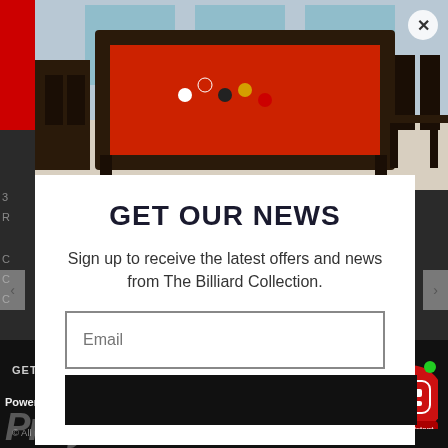[Figure (photo): Photo of a billiard/pool table with red felt surface and dark wood frame, in a modern room setting with dining chairs in background]
GET OUR NEWS
Sign up to receive the latest offers and news from The Billiard Collection.
[Figure (screenshot): Email input field with placeholder text 'Email' and a dark submit button below]
GET SOCIAL   © All rights reserved - The Billiard Collection by Boynton Billiards   privacy   Powered by Privy